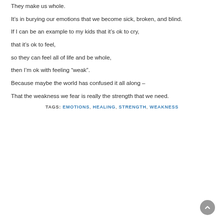They make us whole.
It’s in burying our emotions that we become sick, broken, and blind.
If I can be an example to my kids that it’s ok to cry,
that it’s ok to feel,
so they can feel all of life and be whole,
then I’m ok with feeling “weak”.
Because maybe the world has confused it all along –
That the weakness we fear is really the strength that we need.
TAGS: EMOTIONS, HEALING, STRENGTH, WEAKNESS